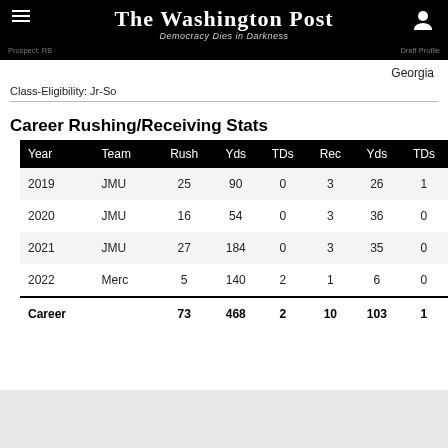The Washington Post — Democracy Dies in Darkness
Georgia
Class-Eligibility: Jr-So
Career Rushing/Receiving Stats
| Year | Team | Rush | Yds | TDs | Rec | Yds | TDs |
| --- | --- | --- | --- | --- | --- | --- | --- |
| 2019 | JMU | 25 | 90 | 0 | 3 | 26 | 1 |
| 2020 | JMU | 16 | 54 | 0 | 3 | 36 | 0 |
| 2021 | JMU | 27 | 184 | 0 | 3 | 35 | 0 |
| 2022 | Merc | 5 | 140 | 2 | 1 | 6 | 0 |
| Career |  | 73 | 468 | 2 | 10 | 103 | 1 |